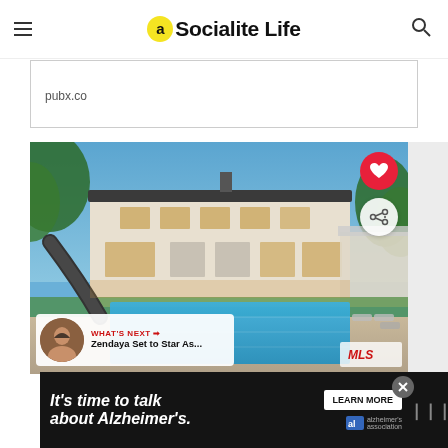Socialite Life
pubx.co
[Figure (photo): Luxury home exterior at dusk with large swimming pool, water slide, patio furniture, and illuminated windows]
WHAT'S NEXT → Zendaya Set to Star As...
[Figure (infographic): Advertisement banner: It's time to talk about Alzheimer's. Learn More. Alzheimer's Association logo.]